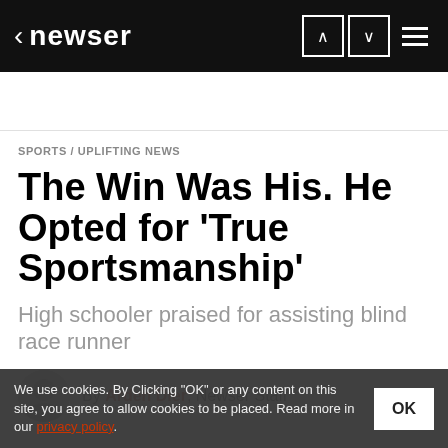< newser
SPORTS / UPLIFTING NEWS
The Win Was His. He Opted for 'True Sportsmanship'
High schooler praised for assisting blind race runner
By Arden Dier, Newser Staff
We use cookies. By Clicking "OK" or any content on this site, you agree to allow cookies to be placed. Read more in our privacy policy.